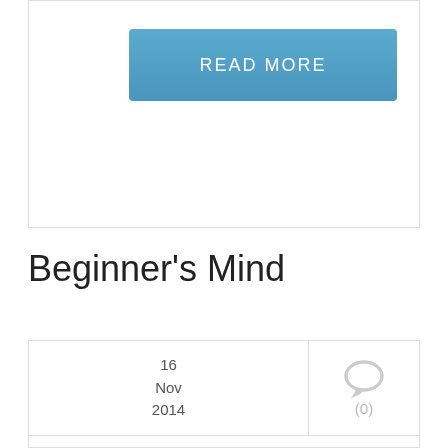[Figure (other): READ MORE button, a blue rectangular button with white text]
Beginner's Mind
16
Nov
2014
[Figure (other): Comment icon (speech bubble) with count (0)]
I recently attended the "Yoga Arava," a beautiful Yoga event hosted by various small communities deep in the Israel desert. I guess I